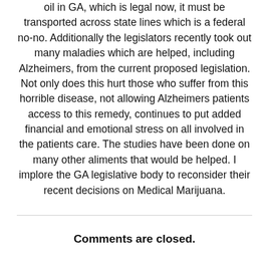oil in GA, which is legal now, it must be transported across state lines which is a federal no-no. Additionally the legislators recently took out many maladies which are helped, including Alzheimers, from the current proposed legislation. Not only does this hurt those who suffer from this horrible disease, not allowing Alzheimers patients access to this remedy, continues to put added financial and emotional stress on all involved in the patients care. The studies have been done on many other aliments that would be helped. I implore the GA legislative body to reconsider their recent decisions on Medical Marijuana.
Comments are closed.